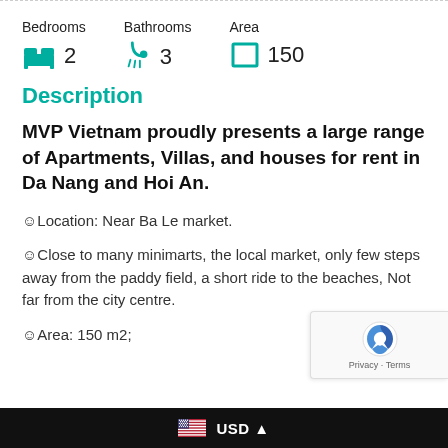[Figure (infographic): Property stats row showing Bedrooms (icon + 2), Bathrooms (icon + 3), Area (icon + 150)]
Description
MVP Vietnam proudly presents a large range of Apartments, Villas, and houses for rent in Da Nang and Hoi An.
😊Location: Near Ba Le market.
😊Close to many minimarts, the local market, only few steps away from the paddy field, a short ride to the beaches, Not far from the city centre.
😊Area: 150 m2;
USD ▲